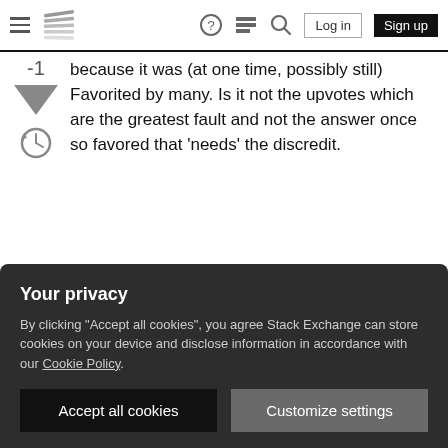Stack Exchange navigation bar with hamburger menu, logo, help, chat, search icons, Log in and Sign up buttons
because it was (at one time, possibly still) Favorited by many. Is it not the upvotes which are the greatest fault and not the answer once so favored that 'needs' the discredit.
This Flag will need to serve more than one purpose to make the most use out of it, in other comments here people have proposed that it also take care of "difference between answers that are valid for an older version of a language ..." and other comments about not needing another Flag (or more work to figure out).
Your privacy
By clicking "Accept all cookies", you agree Stack Exchange can store cookies on your device and disclose information in accordance with our Cookie Policy.
Accept all cookies
Customize settings
For example: someone might ask how to do